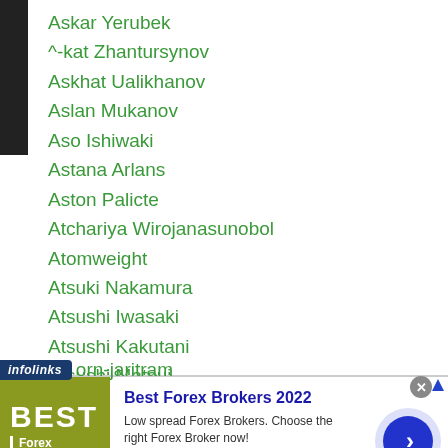Askar Yerubek
Askat Zhantursynov
Askhat Ualikhanov
Aslan Mukanov
Aso Ishiwaki
Astana Arlans
Aston Palicte
Atchariya Wirojanasunobol
Atomweight
Atsuki Nakamura
Atsushi Iwasaki
Atsushi Kakutani
Atsushi Matsui
Atsushi Takada
Atsuyuki Sato
orn-jaritram
[Figure (screenshot): Advertisement overlay: Best Forex Brokers 2022 ad with infolinks label, forex logo on olive/yellow-green background, text and arrow button]